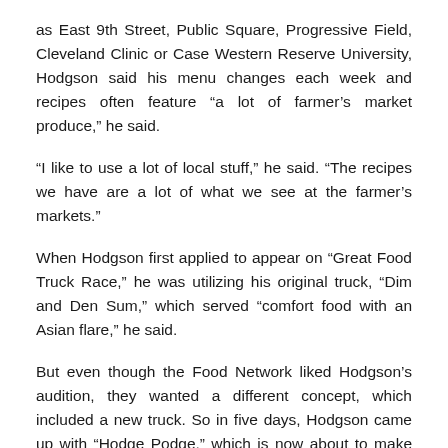as East 9th Street, Public Square, Progressive Field, Cleveland Clinic or Case Western Reserve University, Hodgson said his menu changes each week and recipes often feature “a lot of farmer’s market produce,” he said.
“I like to use a lot of local stuff,” he said. “The recipes we have are a lot of what we see at the farmer’s markets.”
When Hodgson first applied to appear on “Great Food Truck Race,” he was utilizing his original truck, “Dim and Den Sum,” which served “comfort food with an Asian flare,” he said.
But even though the Food Network liked Hodgson’s audition, they wanted a different concept, which included a new truck. So in five days, Hodgson came up with “Hodge Podge,” which is now about to make him very popular.